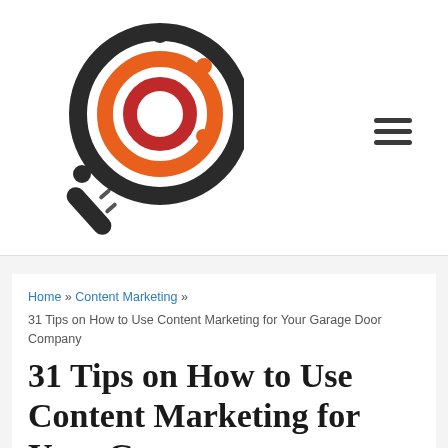[Figure (logo): Magnifying glass logo with concentric orange and red circles inside the lens, dark handle, on white background]
[Figure (other): Hamburger menu icon (three horizontal lines) in dark gray]
Home » Content Marketing » 31 Tips on How to Use Content Marketing for Your Garage Door Company
31 Tips on How to Use Content Marketing for Your Garage